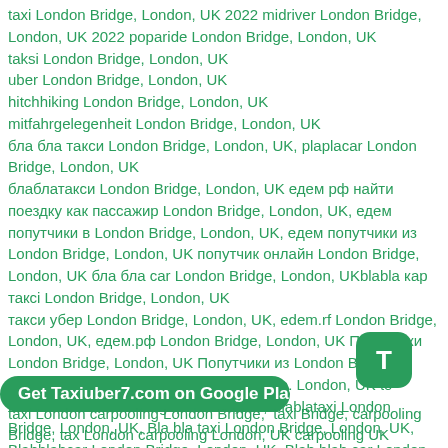taxi London Bridge, London, UK 2022 midriver London Bridge, London, UK 2022 poparide London Bridge, London, UK taksi London Bridge, London, UK uber London Bridge, London, UK hitchhiking London Bridge, London, UK mitfahrgelegenheit London Bridge, London, UK бла бла такси London Bridge, London, UK, plaplacar London Bridge, London, UK блаблатакси London Bridge, London, UK едем рф найти поездку как пассажир London Bridge, London, UK, едем попутчики в London Bridge, London, UK, едем попутчики из London Bridge, London, UK попутчик онлайн London Bridge, London, UK бла бла car London Bridge, London, UKblabla кар такci London Bridge, London, UK такси убер London Bridge, London, UK, edem.rf London Bridge, London, UK, едем.рф London Bridge, London, UK Попутчики London Bridge, London, UK Попутчики из London Bridge, London, UK blablacar from London Bridge, London, UK to Blablabus London Bridge, London, UK, Blablataxi London Bridge, London, UK, Bla bla taxi London Bridge, London, UK, Blahblahcar London Bridge, London, UK, Blah blah car London Bridge, London, UK, Blablacar bus London Bridge, London, UK, Blablacar London Bridge, London, UK or bla bla car London Bridge, London, UK
Get Taxiuber7.com on Google Play
taxi London carpooling London Bridge, taxi Bridge, carpooling Bridge, taxi London carpooling London, UK carpooling UK